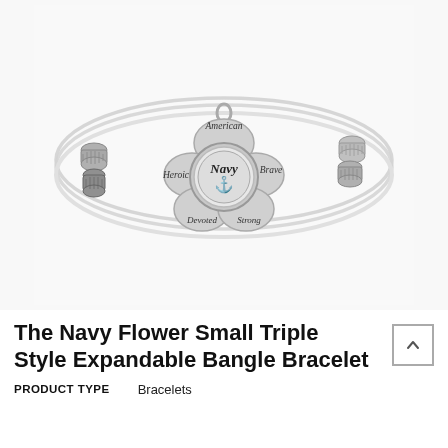[Figure (photo): Silver expandable bangle bracelet set with a Navy flower charm. The flower-shaped charm has petals inscribed with 'American', 'Heroic', 'Brave', 'Devoted', 'Strong' and a central medallion reading 'Navy' with an anchor. Two decorative silver beads are on the bracelet wire, one on each side.]
The Navy Flower Small Triple Style Expandable Bangle Bracelet
PRODUCT TYPE    Bracelets